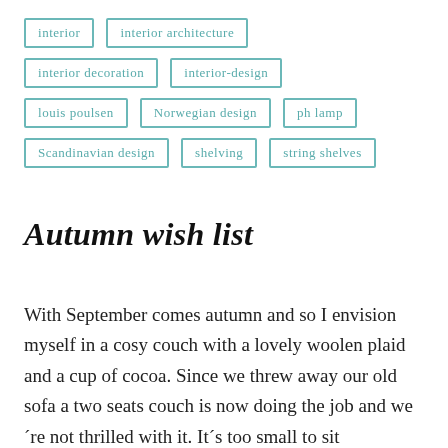interior
interior architecture
interior decoration
interior-design
louis poulsen
Norwegian design
ph lamp
Scandinavian design
shelving
string shelves
Autumn wish list
With September comes autumn and so I envision myself in a cosy couch with a lovely woolen plaid and a cup of cocoa. Since we threw away our old sofa a two seats couch is now doing the job and we´re not thrilled with it. It´s too small to sit comfortably, not to mention there´s no room for